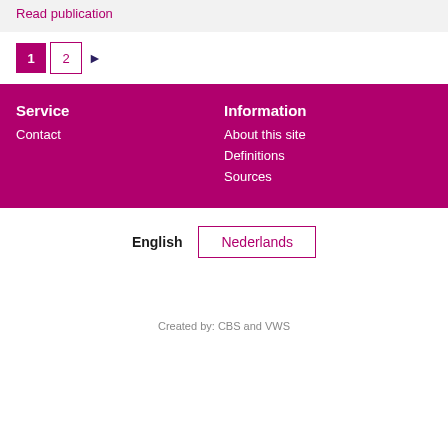Read publication
1  2  ▶
Service
Contact
Information
About this site
Definitions
Sources
English  Nederlands
Created by: CBS and VWS